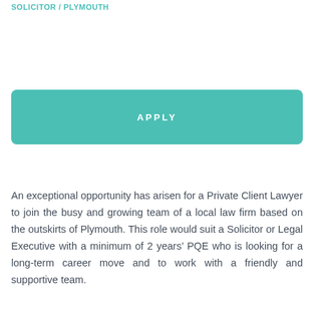SOLICITOR / PLYMOUTH
[Figure (other): Teal/green APPLY button]
An exceptional opportunity has arisen for a Private Client Lawyer to join the busy and growing team of a local law firm based on the outskirts of Plymouth. This role would suit a Solicitor or Legal Executive with a minimum of 2 years’ PQE who is looking for a long-term career move and to work with a friendly and supportive team.